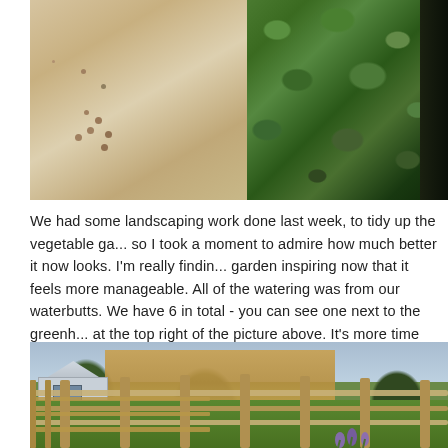[Figure (photo): Top-down view of a garden area showing sandy/gravelly soil path on the left and dense green leafy plants on the right with dark background at top right]
We had some landscaping work done last week, to tidy up the vegetable ga... so I took a moment to admire how much better it now looks. I'm really findin... garden inspiring now that it feels more manageable. All of the watering was from our waterbutts. We have 6 in total - you can see one next to the greenh... at the top right of the picture above. It's more time consuming, but very therapeutic to keep pottering back and forth to refill them.
[Figure (photo): Garden scene with wooden post-and-rail fence in foreground, green lawn, a small white shed on the left, a large wooden fence panel in the background, a tree, and purple flowers (irises) at lower right]